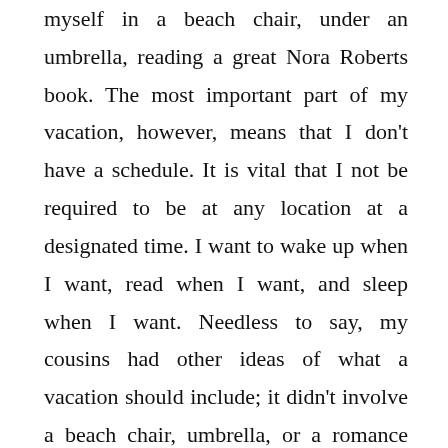myself in a beach chair, under an umbrella, reading a great Nora Roberts book. The most important part of my vacation, however, means that I don't have a schedule. It is vital that I not be required to be at any location at a designated time. I want to wake up when I want, read when I want, and sleep when I want. Needless to say, my cousins had other ideas of what a vacation should include; it didn't involve a beach chair, umbrella, or a romance novel. They wanted to build sandcastles and play volleyball at the resort gym all on a specific timetable. They nagged me to be at the gym at a certain time or build my sandcastle a certain way. It was a long week. Perhaps if my extended family and my mom and I had discussed what we planned to do while on vacation